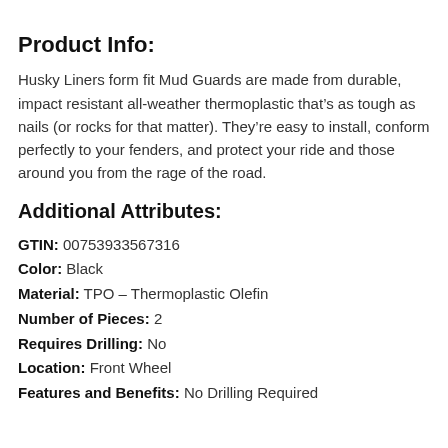Product Info:
Husky Liners form fit Mud Guards are made from durable, impact resistant all-weather thermoplastic that’s as tough as nails (or rocks for that matter). They’re easy to install, conform perfectly to your fenders, and protect your ride and those around you from the rage of the road.
Additional Attributes:
GTIN: 00753933567316
Color: Black
Material: TPO – Thermoplastic Olefin
Number of Pieces: 2
Requires Drilling: No
Location: Front Wheel
Features and Benefits: No Drilling Required